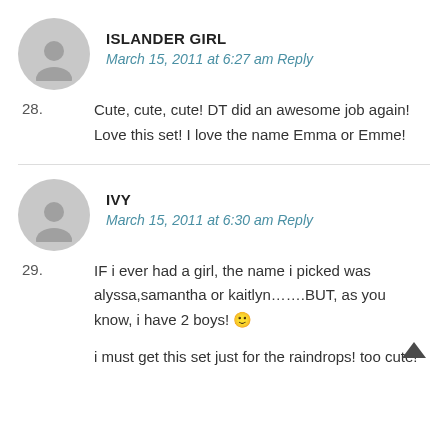[Figure (illustration): Generic user avatar icon — gray circle with silhouette of person head and shoulders]
ISLANDER GIRL
March 15, 2011 at 6:27 am Reply
28. Cute, cute, cute! DT did an awesome job again! Love this set! I love the name Emma or Emme!
[Figure (illustration): Generic user avatar icon — gray circle with silhouette of person head and shoulders]
IVY
March 15, 2011 at 6:30 am Reply
29. IF i ever had a girl, the name i picked was alyssa,samantha or kaitlyn…….BUT, as you know, i have 2 boys! 🙂

i must get this set just for the raindrops! too cute!